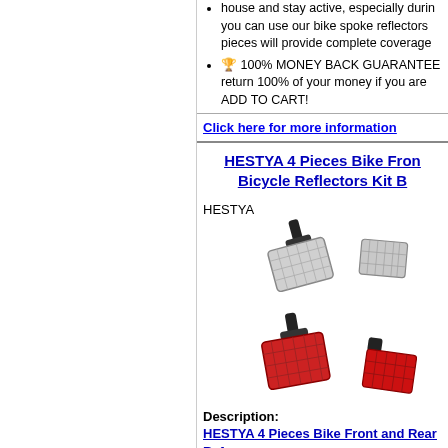house and stay active, especially durin you can use our bike spoke reflectors pieces will provide complete coverage
🏆 100% MONEY BACK GUARANTEE return 100% of your money if you are ADD TO CART!
Click here for more information
HESTYA 4 Pieces Bike Fron Bicycle Reflectors Kit B
HESTYA
[Figure (photo): Four bicycle reflectors - two white/clear front reflectors on handlebar mounts and two red rear reflectors, shown floating on white background]
Description:
HESTYA 4 Pieces Bike Front and Rear Ref Warning Reflectors, Red and White